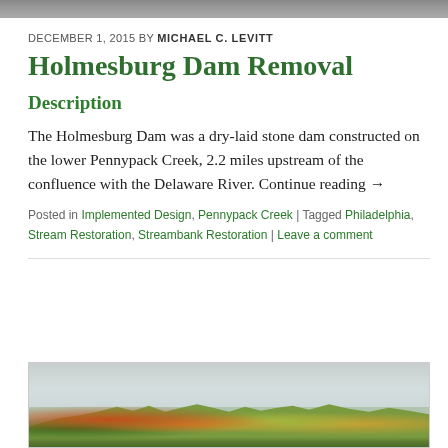[Figure (photo): Top banner photograph of landscape or creek scene]
DECEMBER 1, 2015 BY MICHAEL C. LEVITT
Holmesburg Dam Removal
Description
The Holmesburg Dam was a dry-laid stone dam constructed on the lower Pennypack Creek, 2.2 miles upstream of the confluence with the Delaware River. Continue reading →
Posted in Implemented Design, Pennypack Creek | Tagged Philadelphia, Stream Restoration, Streambank Restoration | Leave a comment
[Figure (photo): Autumn landscape photograph showing colorful fall foliage trees against a cloudy sky, likely near Pennypack Creek]